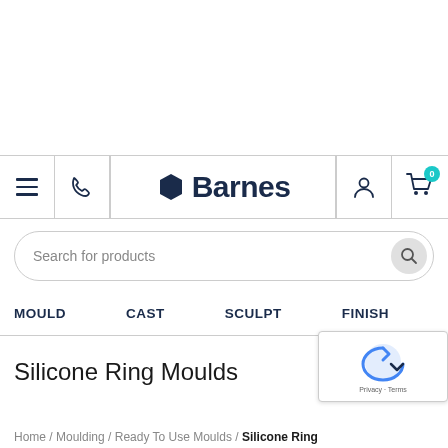Barnes — navigation header with hamburger menu, phone, logo, user, and cart icons
Search for products
MOULD   CAST   SCULPT   FINISH
Silicone Ring Moulds
Home / Moulding / Ready To Use Moulds / Silicone Ring